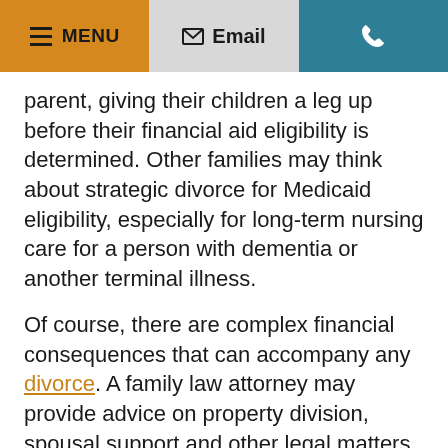MENU | Email | [phone]
parent, giving their children a leg up before their financial aid eligibility is determined. Other families may think about strategic divorce for Medicaid eligibility, especially for long-term nursing care for a person with dementia or another terminal illness.
Of course, there are complex financial consequences that can accompany any divorce. A family law attorney may provide advice on property division, spousal support and other legal matters while working to help divorcing spouses reach a fair settlement.